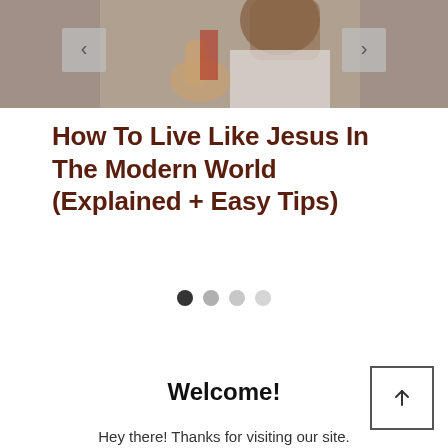[Figure (photo): Slider image showing a person with curly hair giving a thumbs up, with navigation arrows on left and right sides. Background is dark/muted.]
How To Live Like Jesus In The Modern World (Explained + Easy Tips)
[Figure (other): Carousel pagination dots: one filled dark dot and three lighter gray dots indicating slide position]
Welcome!
Hey there! Thanks for visiting our site.